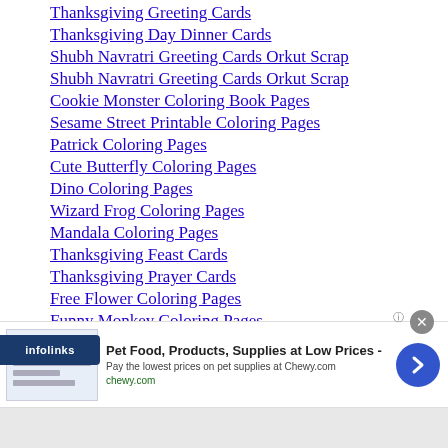Thanksgiving Greeting Cards
Thanksgiving Day Dinner Cards
Shubh Navratri Greeting Cards Orkut Scrap
Shubh Navratri Greeting Cards Orkut Scrap
Cookie Monster Coloring Book Pages
Sesame Street Printable Coloring Pages
Patrick Coloring Pages
Cute Butterfly Coloring Pages
Dino Coloring Pages
Wizard Frog Coloring Pages
Mandala Coloring Pages
Thanksgiving Feast Cards
Thanksgiving Prayer Cards
Free Flower Coloring Pages
Funny Monkey Coloring Pages
[Figure (infographic): Advertisement banner for Chewy.com pet food and supplies with blue arrow button and close (X) button]
infolinks